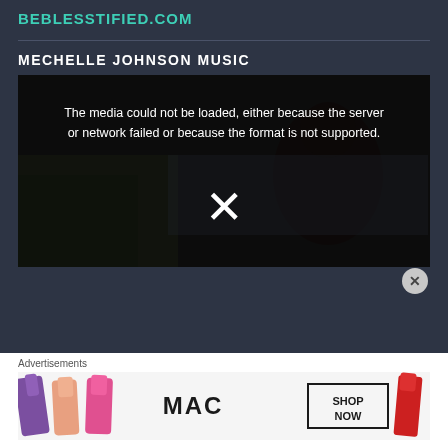BEBLESSTIFIED.COM
MECHELLE JOHNSON MUSIC
[Figure (screenshot): Video player showing error message: 'The media could not be loaded, either because the server or network failed or because the format is not supported.' with an X mark and a dark background showing a woman outdoors.]
Advertisements
[Figure (photo): MAC cosmetics advertisement banner showing lipsticks in purple, peach, and pink colors with MAC logo and 'SHOP NOW' button, alongside a red lipstick on the right.]